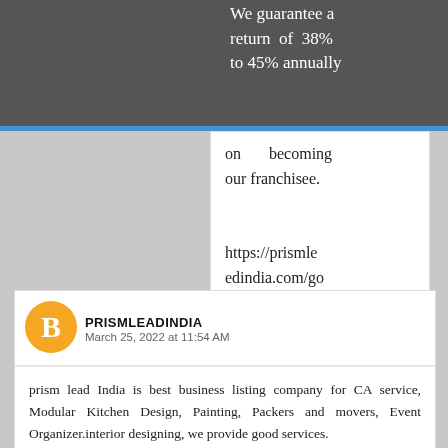We guarantee a return of 38% to 45% annually on becoming our franchisee.
on becoming our franchisee.

https://prismleadindia.com/gold-buyers-in-bangalore/
Repl
PRISMLEADINDIA  March 25, 2022 at 11:54 AM
prism lead India is best business listing company for CA service, Modular Kitchen Design, Painting, Packers and movers, Event Organizer.interior designing, we provide good services.